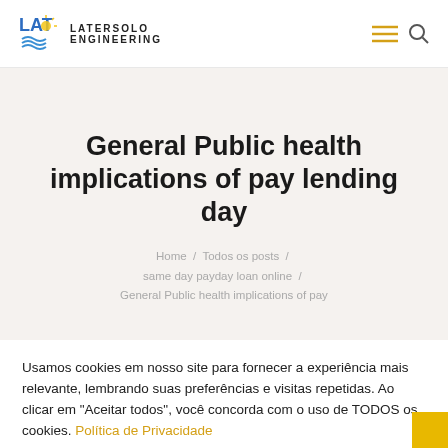LATERSOLO ENGINEERING
General Public health implications of pay lending day
Home / Todos os posts / same day payday loan online / General Public health implications of pay
Usamos cookies em nosso site para fornecer a experiência mais relevante, lembrando suas preferências e visitas repetidas. Ao clicar em "Aceitar todos", você concorda com o uso de TODOS os cookies. Política de Privacidade
Aceitar tudo